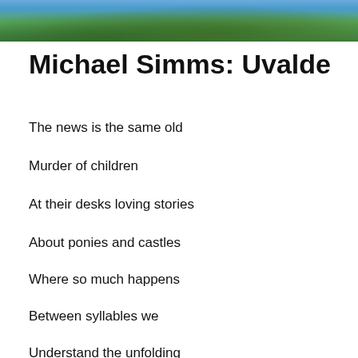[Figure (photo): Outdoor photo strip showing green tree foliage against a blue sky, cropped to a narrow horizontal band at the top of the page.]
Michael Simms: Uvalde
The news is the same old
Murder of children
At their desks loving stories
About ponies and castles
Where so much happens
Between syllables we
Understand the unfolding
The swelling and collapsing